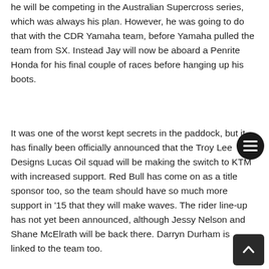he will be competing in the Australian Supercross series, which was always his plan. However, he was going to do that with the CDR Yamaha team, before Yamaha pulled the team from SX. Instead Jay will now be aboard a Penrite Honda for his final couple of races before hanging up his boots.
It was one of the worst kept secrets in the paddock, but it has finally been officially announced that the Troy Lee Designs Lucas Oil squad will be making the switch to KTM with increased support. Red Bull has come on as a title sponsor too, so the team should have so much more support in '15 that they will make waves. The rider line-up has not yet been announced, although Jessy Nelson and Shane McElrath will be back there. Darryn Durham is linked to the team too.